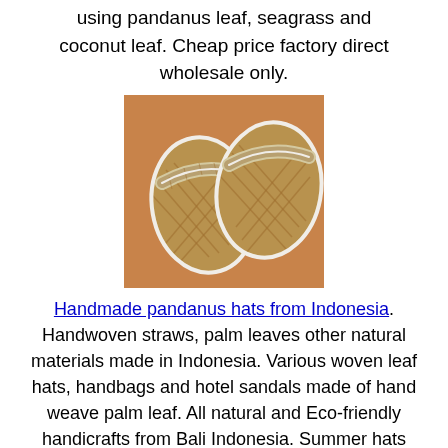using pandanus leaf, seagrass and coconut leaf. Cheap price factory direct wholesale only.
[Figure (photo): Photo of woven pandanus leaf sandals/slippers with white trim, displayed on an orange background]
Handmade pandanus hats from Indonesia. Handwoven straws, palm leaves other natural materials made in Indonesia. Various woven leaf hats, handbags and hotel sandals made of hand weave palm leaf. All natural and Eco-friendly handicrafts from Bali Indonesia. Summer hats and hotel footwear made of organic fiber handmade by local artisans in Bali Indonesia. Buy direct from factory in